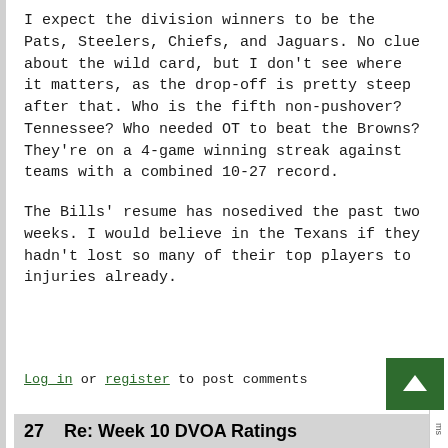I expect the division winners to be the Pats, Steelers, Chiefs, and Jaguars. No clue about the wild card, but I don't see where it matters, as the drop-off is pretty steep after that. Who is the fifth non-pushover? Tennessee? Who needed OT to beat the Browns? They're on a 4-game winning streak against teams with a combined 10-27 record.

The Bills' resume has nosedived the past two weeks. I would believe in the Texans if they hadn't lost so many of their top players to injuries already.
Log in or register to post comments
27   Re: Week 10 DVOA Ratings